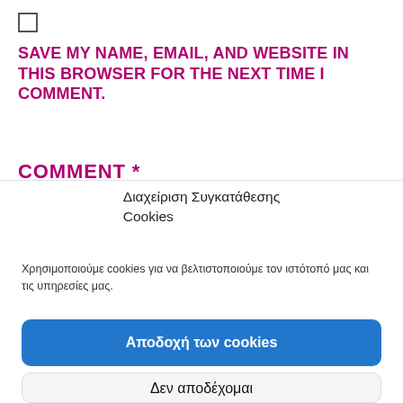☐
SAVE MY NAME, EMAIL, AND WEBSITE IN THIS BROWSER FOR THE NEXT TIME I COMMENT.
COMMENT *
Διαχείριση Συγκατάθεσης Cookies
Χρησιμοποιούμε cookies για να βελτιστοποιούμε τον ιστότοπό μας και τις υπηρεσίες μας.
Αποδοχή των cookies
Δεν αποδέχομαι
Προβολή προτιμήσεων